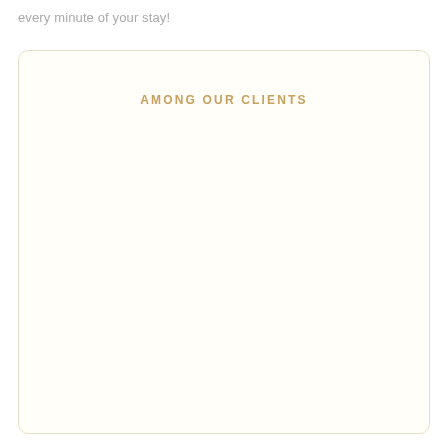every minute of your stay!
AMONG OUR CLIENTS